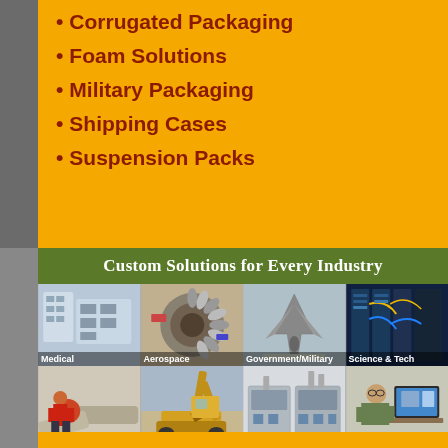Corrugated Packaging
Foam Solutions
Military Packaging
Shipping Cases
Suspension Packs
Custom Solutions for Every Industry
[Figure (photo): Grid of 8 industry photos: Medical (lab equipment), Aerospace (jet engine), Government/Military (fighter jet), Science & Tech (data center), Energy (worker with pipes), Heavy Industrial (excavator), HVAC (industrial HVAC units), Case Studies (man at computer)]